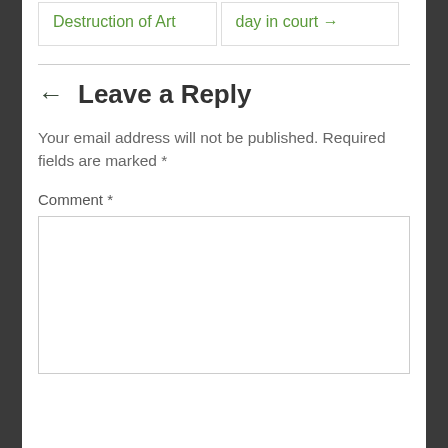Destruction of Art
day in court →
← Leave a Reply
Your email address will not be published. Required fields are marked *
Comment *